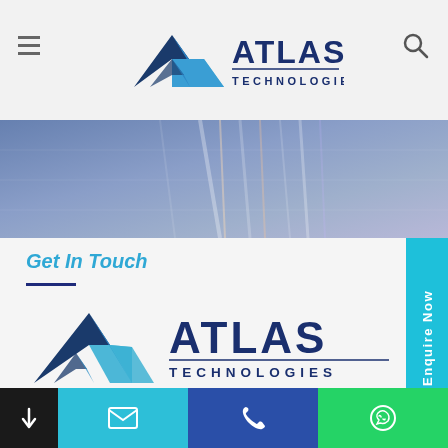Atlas Technologies - navigation header with hamburger menu, logo, and search icon
[Figure (photo): Hero banner with blurred colorful light streaks on blue/purple background]
Get In Touch
[Figure (logo): Atlas Technologies logo with geometric mountain/chevron icon in blue tones and dark blue ATLAS TECHNOLOGIES wordmark]
55 Serangoon North Avenue 4
#01-21 S9 @ Serangoon
Singapore 555859
Phone:  +65 6454 2636
sales@atlascorporation.com.sg
[Figure (infographic): Bottom navigation bar with dark left section (down arrow), teal email icon section, dark blue phone icon section, and green WhatsApp icon section]